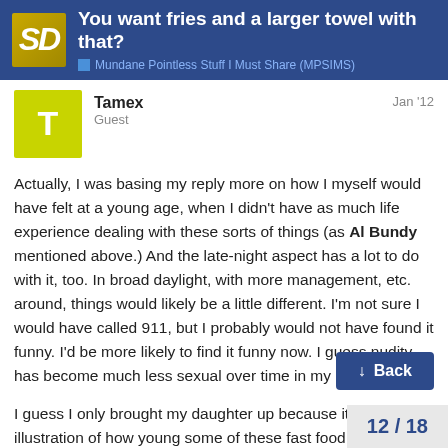You want fries and a larger towel with that? — Mundane Pointless Stuff I Must Share (MPSIMS)
Tamex
Guest
Jan '12
Actually, I was basing my reply more on how I myself would have felt at a young age, when I didn't have as much life experience dealing with these sorts of things (as Al Bundy mentioned above.) And the late-night aspect has a lot to do with it, too. In broad daylight, with more management, etc. around, things would likely be a little different. I'm not sure I would have called 911, but I probably would not have found it funny. I'd be more likely to find it funny now. I guess nudity has become much less sexual over time in my mind.

I guess I only brought my daughter up because it's an illustration of how young some of these fast food workers are, and, yes, as a parent, it's a situation I'd rather s... to deal with that young, in an ideal world. I want her to trust her instincts, and if her her instincts tell her to call... naked couple in the drive-thru at 2 am, I w...